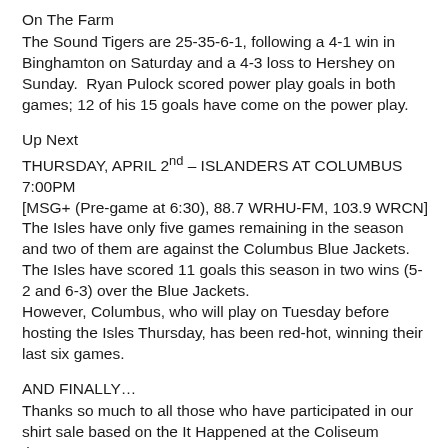On The Farm
The Sound Tigers are 25-35-6-1, following a 4-1 win in Binghamton on Saturday and a 4-3 loss to Hershey on Sunday.  Ryan Pulock scored power play goals in both games; 12 of his 15 goals have come on the power play.
Up Next
THURSDAY, APRIL 2nd – ISLANDERS AT COLUMBUS 7:00PM
[MSG+ (Pre-game at 6:30), 88.7 WRHU-FM, 103.9 WRCN]
The Isles have only five games remaining in the season and two of them are against the Columbus Blue Jackets.  The Isles have scored 11 goals this season in two wins (5-2 and 6-3) over the Blue Jackets.
However, Columbus, who will play on Tuesday before hosting the Isles Thursday, has been red-hot, winning their last six games.
AND FINALLY…
Thanks so much to all those who have participated in our shirt sale based on the It Happened at the Coliseum theme.